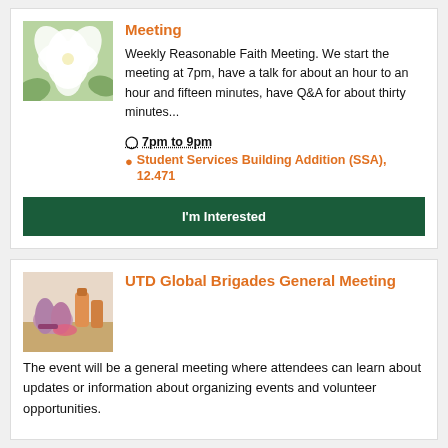[Figure (photo): White flower/orchid photo for the first event card]
Meeting
Weekly Reasonable Faith Meeting. We start the meeting at 7pm, have a talk for about an hour to an hour and fifteen minutes, have Q&A for about thirty minutes...
7pm to 9pm
Student Services Building Addition (SSA), 12.471
I'm Interested
[Figure (photo): Medical/volunteer hands with gloves and supplies photo for second event card]
UTD Global Brigades General Meeting
The event will be a general meeting where attendees can learn about updates or information about organizing events and volunteer opportunities.